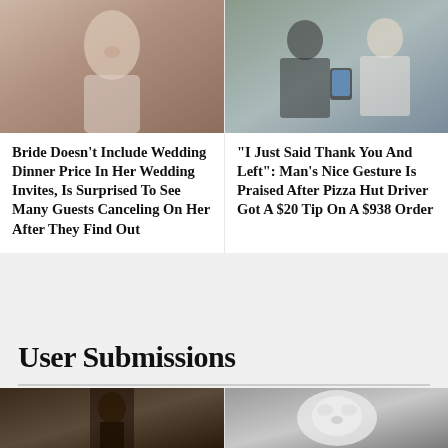[Figure (photo): Bride in white dress appearing to shout or yell, with another woman visible behind her]
[Figure (photo): Two people exchanging or looking at a phone, delivery or service interaction scene]
Bride Doesn't Include Wedding Dinner Price In Her Wedding Invites, Is Surprised To See Many Guests Canceling On Her After They Find Out
"I Just Said Thank You And Left": Man's Nice Gesture Is Praised After Pizza Hut Driver Got A $20 Tip On A $938 Order
User Submissions
[Figure (photo): Dark carved wooden figure or sculpture visible through a narrow space]
[Figure (photo): Close-up of a fluffy white animal, possibly a dog or cat covered in snow or frost]